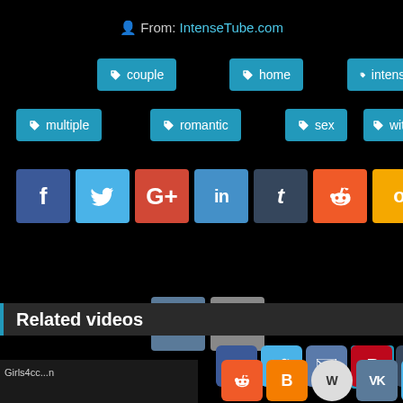From: IntenseTube.com
couple
home
intense
multiple
romantic
sex
with
[Figure (screenshot): Social media share buttons: Facebook, Twitter, Google+, LinkedIn, Tumblr, Reddit, Odnoklassniki, VK, Email]
Related videos
[Figure (screenshot): Bottom share bar with Facebook, Twitter, Email, Pinterest, Tumblr, Reddit, Blogger, WordPress, VK, More buttons and up arrow]
Girls4cc...n